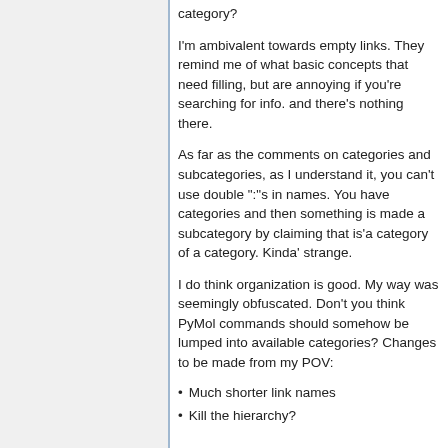category?
I'm ambivalent towards empty links. They remind me of what basic concepts that need filling, but are annoying if you're searching for info. and there's nothing there.
As far as the comments on categories and subcategories, as I understand it, you can't use double ":"s in names. You have categories and then something is made a subcategory by claiming that is'a category of a category. Kinda' strange.
I do think organization is good. My way was seemingly obfuscated. Don't you think PyMol commands should somehow be lumped into available categories? Changes to be made from my POV:
Much shorter link names
Kill the hierarchy?